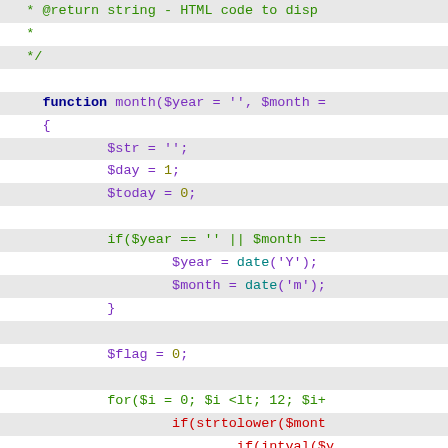[Figure (screenshot): PHP source code snippet showing a function named 'month' with parameters $year and $month, containing variable initializations, conditional checks using date(), a $flag variable, and a for loop with nested if statements including strtolower, intval calls and a break statement.]